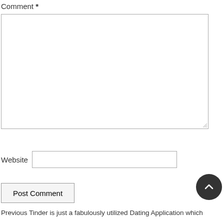Comment *
[Figure (screenshot): Empty comment textarea input box with resize handle at bottom right]
Website
[Figure (screenshot): Empty website text input field]
[Figure (screenshot): Post Comment button]
[Figure (illustration): Dark circular scroll-to-top button with upward chevron arrow]
Previous Tinder is just a fabulously utilized Dating Application which